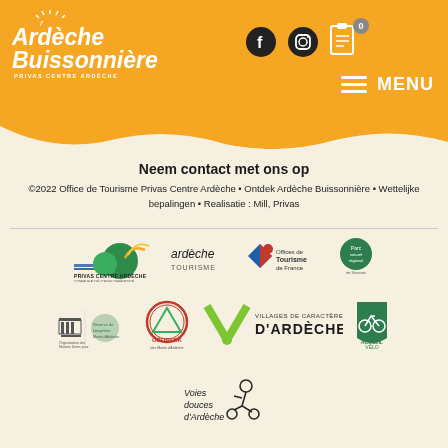l'Ardèche Buissonnière - PRIVAS CENTRE ARDÈCHE
Neem contact met ons op
©2022 Office de Tourisme Privas Centre Ardèche • Ontdek Ardèche Buissonnière • Wettelijke bepalingen • Realisatie : Mill, Privas
[Figure (logo): Row of partner logos including Privas Centre Ardèche, Ardèche Tourisme, Offices de Tourisme de France, and an eco-label]
[Figure (logo): Row of partner logos including UNESCO/Géopark, Géopark des Monts d'Ardèche, Villages de Caractère d'Ardèche, and Accueil Vélo]
[Figure (logo): Voies douces d'Ardèche logo]